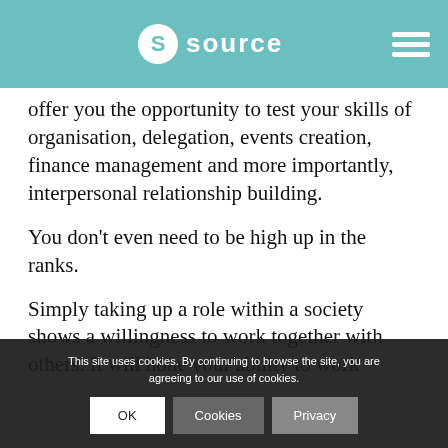source
offer you the opportunity to test your skills of organisation, delegation, events creation, finance management and more importantly, interpersonal relationship building.
You don't even need to be high up in the ranks.
Simply taking up a role within a society shows a willingness to work together with others. It will hone your ability to work towards a common goal and help you network with others you might not otherwise have the chance to interact with on campus.
Volunteering
This site uses cookies. By continuing to browse the site, you are agreeing to our use of cookies.